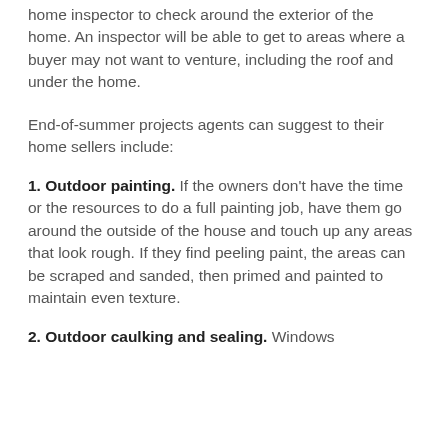home inspector to check around the exterior of the home. An inspector will be able to get to areas where a buyer may not want to venture, including the roof and under the home.
End-of-summer projects agents can suggest to their home sellers include:
1. Outdoor painting. If the owners don't have the time or the resources to do a full painting job, have them go around the outside of the house and touch up any areas that look rough. If they find peeling paint, the areas can be scraped and sanded, then primed and painted to maintain even texture.
2. Outdoor caulking and sealing. Windows